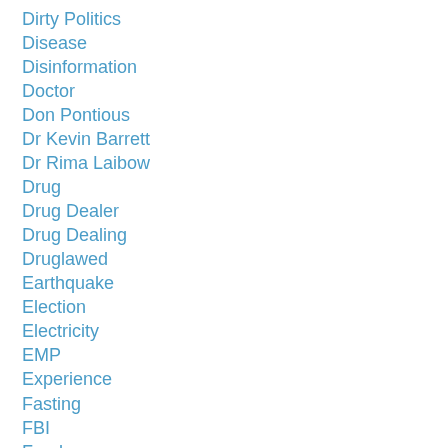Dirty Politics
Disease
Disinformation
Doctor
Don Pontious
Dr Kevin Barrett
Dr Rima Laibow
Drug
Drug Dealer
Drug Dealing
Druglawed
Earthquake
Election
Electricity
EMP
Experience
Fasting
FBI
Food
Freedom Of Joyce
Freedomslips